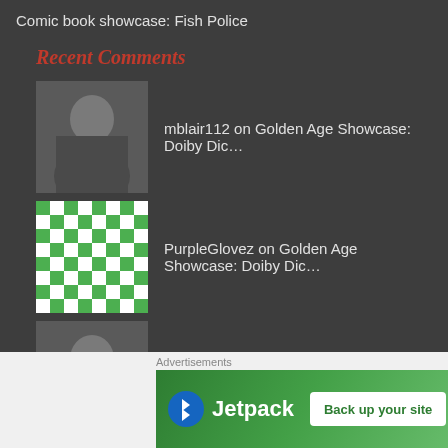Comic book showcase: Fish Police
Recent Comments
mblair112 on Golden Age Showcase: Doiby Dic…
PurpleGlovez on Golden Age Showcase: Doiby Dic…
mblair112 on Golden Age Showcase: The Face
Dean M. Lichterman on Golden Age Showcase: The Face
Stardust, The Super… on Golden Age Showcase: Stardust…
Advertisements
[Figure (screenshot): Jetpack advertisement banner with logo and 'Back up your site' button on green background]